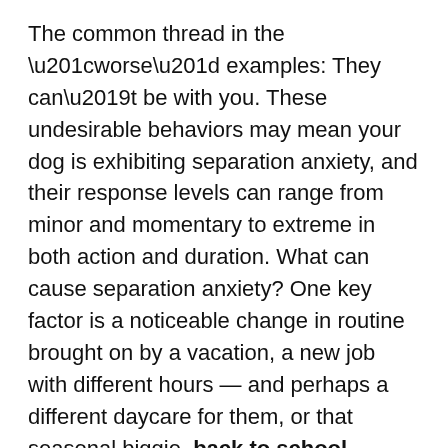The common thread in the “worse” examples: They can’t be with you. These undesirable behaviors may mean your dog is exhibiting separation anxiety, and their response levels can range from minor and momentary to extreme in both action and duration. What can cause separation anxiety? One key factor is a noticeable change in routine brought on by a vacation, a new job with different hours — and perhaps a different daycare for them, or that seasonal biggie, back to school.
Even the school-to-summer transition can lead to dogs acting out, but that’s likely because they’re excited to have more hoomans around more often. And the ratio of available people to attention-received should remain constant. (Fur-give us, we’re channeling doggy logic here.) When the kids go back to school the adult schedules may or may not change much, but